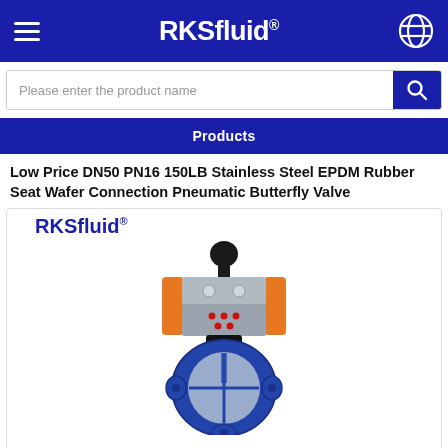RKSfluid®
Please enter the product name
Products
Low Price DN50 PN16 150LB Stainless Steel EPDM Rubber Seat Wafer Connection Pneumatic Butterfly Valve
[Figure (photo): Pneumatic butterfly valve product photo showing a blue wafer-body butterfly valve with orange and silver pneumatic actuator and black dome indicator on top, with RKSfluid® brand logo above the product image.]